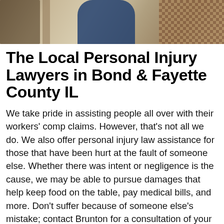[Figure (photo): Partial photo of people in an office or legal setting, showing a person in a blue outfit and another person with a patterned garment, with furniture visible on the left side.]
The Local Personal Injury Lawyers in Bond & Fayette County IL
We take pride in assisting people all over with their workers' comp claims. However, that's not all we do. We also offer personal injury law assistance for those that have been hurt at the fault of someone else. Whether there was intent or negligence is the cause, we may be able to pursue damages that help keep food on the table, pay medical bills, and more. Don't suffer because of someone else's mistake; contact Brunton for a consultation of your personal injury claims!